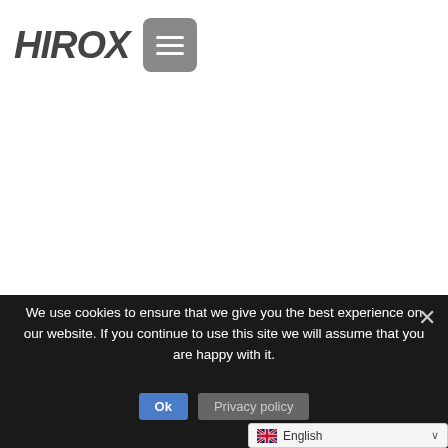[Figure (logo): HIROX logo in bold dark grey italic uppercase letters, followed by a grey hamburger menu button icon]
We use cookies to ensure that we give you the best experience on our website. If you continue to use this site we will assume that you are happy with it.
Ok
Privacy policy
English